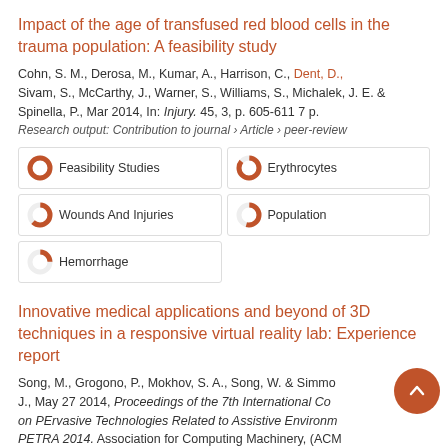Impact of the age of transfused red blood cells in the trauma population: A feasibility study
Cohn, S. M., Derosa, M., Kumar, A., Harrison, C., Dent, D., Sivam, S., McCarthy, J., Warner, S., Williams, S., Michalek, J. E. & Spinella, P., Mar 2014, In: Injury. 45, 3, p. 605-611 7 p.
Research output: Contribution to journal › Article › peer-review
Feasibility Studies
Erythrocytes
Wounds And Injuries
Population
Hemorrhage
Innovative medical applications and beyond of 3D techniques in a responsive virtual reality lab: Experience report
Song, M., Grogono, P., Mokhov, S. A., Song, W. & Simmons, J., May 27 2014, Proceedings of the 7th International Conference on PErvasive Technologies Related to Assistive Environments, PETRA 2014. Association for Computing Machinery, (ACM